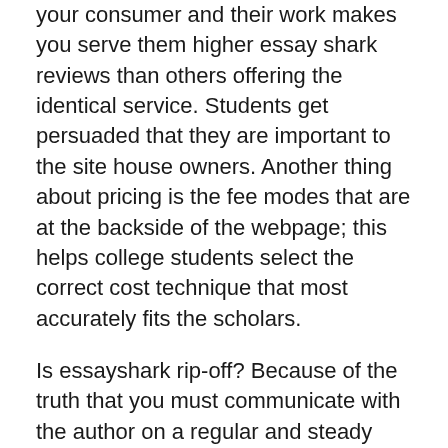your consumer and their work makes you serve them higher essay shark reviews than others offering the identical service. Students get persuaded that they are important to the site house owners. Another thing about pricing is the fee modes that are at the backside of the webpage; this helps college students select the correct cost technique that most accurately fits the scholars.
Is essayshark rip-off? Because of the truth that you must communicate with the author on a regular and steady foundation before, throughout and after the order's supply, you've got to ship revision requests on to writer via chat. 270. Tailored Essays () Lively, unchanged.
After all, you could ask – why it is attainable to buy essay online for affordable if the service is SO good?